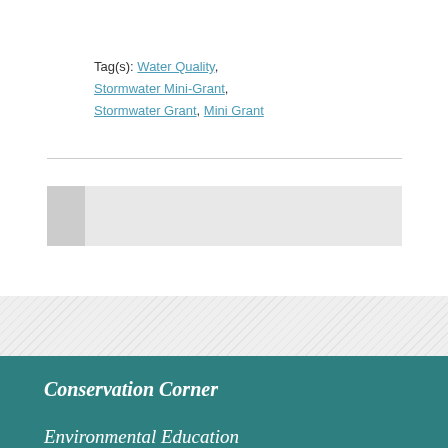Tag(s): Water Quality, Stormwater Mini-Grant, Stormwater Grant, Mini Grant
[Figure (other): Gray navigation/pagination bar element with two sections]
Conservation Corner
Environmental Education